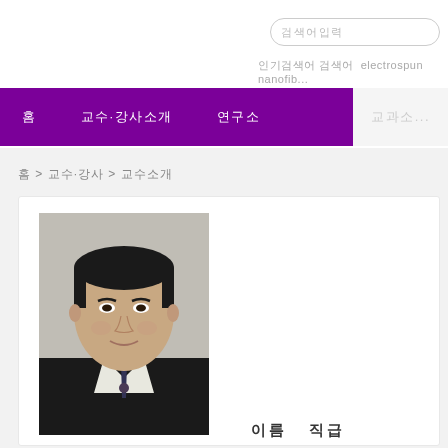검색어입력
인기검색어 검색어 electrospun nanofib...
홈  교수·강사소개  연구소  교과소
홈 > 교수·강사 > 교수소개
[Figure (photo): Portrait photo of an Asian male professor in a dark suit with a tie, formal headshot against a light background]
이름   직급
소속부서명1
소속부서명2
논문(0)